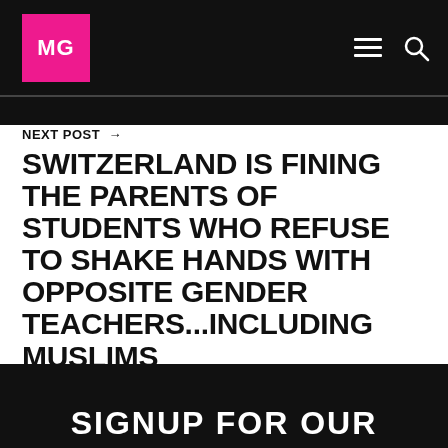MG
NEXT POST →
SWITZERLAND IS FINING THE PARENTS OF STUDENTS WHO REFUSE TO SHAKE HANDS WITH OPPOSITE GENDER TEACHERS...INCLUDING MUSLIMS
SIGNUP FOR OUR